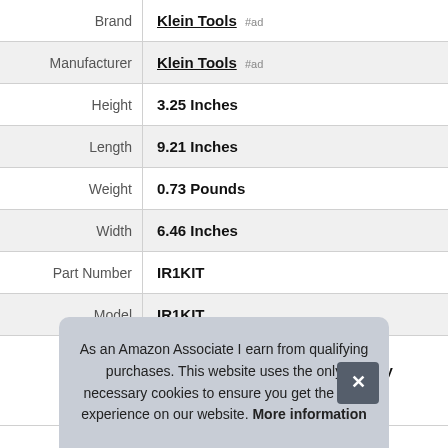| Property | Value |
| --- | --- |
| Brand | Klein Tools #ad |
| Manufacturer | Klein Tools #ad |
| Height | 3.25 Inches |
| Length | 9.21 Inches |
| Weight | 0.73 Pounds |
| Width | 6.46 Inches |
| Part Number | IR1KIT |
| Model | IR1KIT |
| Warranty | Please refer to attached warranty document for information |
As an Amazon Associate I earn from qualifying purchases. This website uses the only necessary cookies to ensure you get the best experience on our website. More information